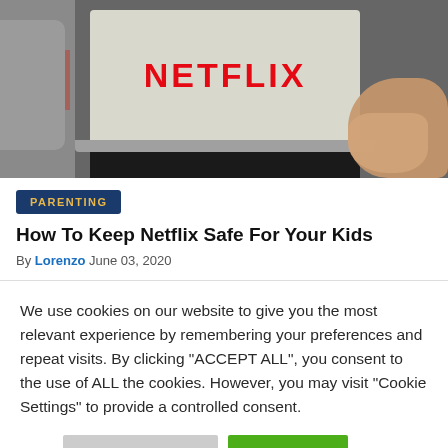[Figure (photo): Laptop with Netflix logo on screen, person's hand on keyboard, grey hoodie fabric visible on left]
PARENTING
How To Keep Netflix Safe For Your Kids
By Lorenzo June 03, 2020
We use cookies on our website to give you the most relevant experience by remembering your preferences and repeat visits. By clicking “ACCEPT ALL”, you consent to the use of ALL the cookies. However, you may visit "Cookie Settings" to provide a controlled consent.